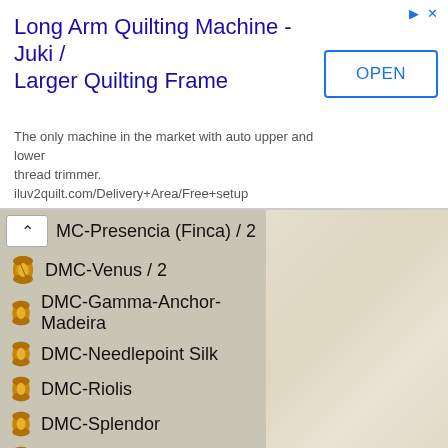[Figure (screenshot): Advertisement banner for Long Arm Quilting Machine - Juki / Larger Quilting Frame with OPEN button]
Long Arm Quilting Machine - Juki / Larger Quilting Frame
The only machine in the market with auto upper and lower thread trimmer. iluv2quilt.com/Delivery+Area/Free+setup
MC-Presencia (Finca) / 2
DMC-Venus / 2
DMC-Gamma-Anchor-Madeira
DMC-Needlepoint Silk
DMC-Riolis
DMC-Splendor
DMC-Sullivans
DMC-DFN (Janlynn)
DMC-Mill Hill Beads / 2
DMC-Anchor-Jp-Mill Hill
DMC-Laine Colbert Wool
DMC-Brouille / 2